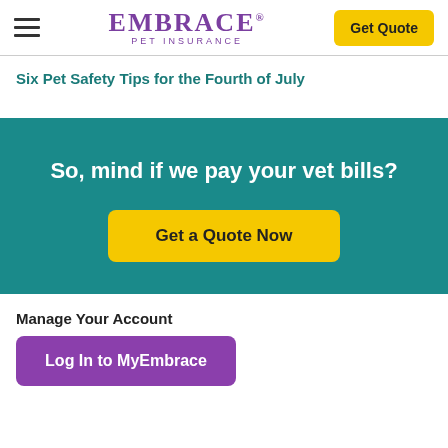EMBRACE PET INSURANCE | Get Quote
Six Pet Safety Tips for the Fourth of July
[Figure (infographic): Teal/green banner with white bold text: 'So, mind if we pay your vet bills?' and a yellow 'Get a Quote Now' button]
Manage Your Account
Log In to MyEmbrace